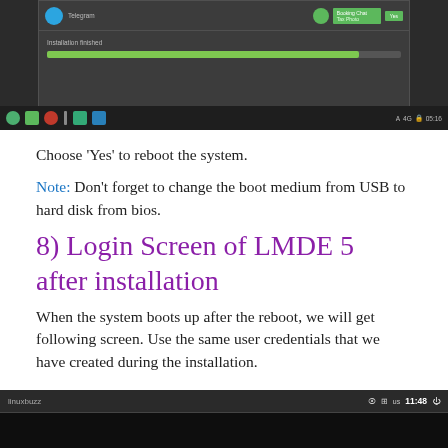[Figure (screenshot): Screenshot of Linux Mint DE installation finished screen with progress bar and taskbar at bottom]
Choose ‘Yes’ to reboot the system.
Note: Don’t forget to change the boot medium from USB to hard disk from bios.
8) Login Screen of LMDE 5 after installation
When the system boots up after the reboot, we will get following screen. Use the same user credentials that we have created during the installation.
[Figure (screenshot): Bottom portion of LMDE 5 login screen showing dark background with linuxbuzz taskbar at top showing time 11:48]